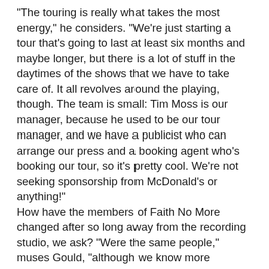"The touring is really what takes the most energy," he considers. "We're just starting a tour that's going to last at least six months and maybe longer, but there is a lot of stuff in the daytimes of the shows that we have to take care of. It all revolves around the playing, though. The team is small: Tim Moss is our manager, because he used to be our tour manager, and we have a publicist who can arrange our press and a booking agent who's booking our tour, so it's pretty cool. We're not seeking sponsorship from McDonald's or anything!"
How have the members of Faith No More changed after so long away from the recording studio, we ask? "Were the same people," muses Gould, "although we know more because we've been recording a decade longer, but the process is pretty similar. If anything, we checked in with each other a little more during the making of Sol Invictus to see if we were all happy with it. There wasn't a third party: we were all involved in the whole thing."
How did Gould take the pressures of being an engineer and